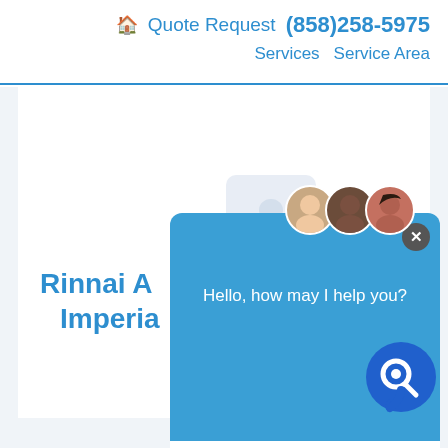🏠 Quote Request (858)258-5975 Services Service Area
[Figure (screenshot): Website screenshot showing a chat widget popup with avatars, greeting 'Hello, how may I help you?', an input box 'Type and start', and partially visible text 'Rinnai A... Imperia...' in blue, with a blue chat launcher icon in the bottom right corner.]